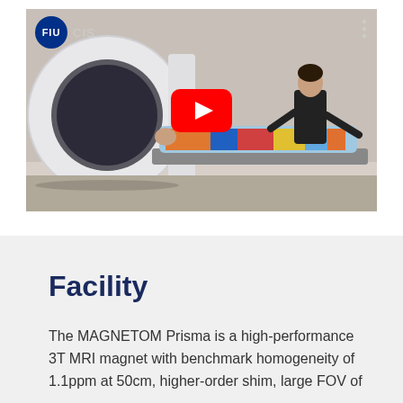[Figure (screenshot): YouTube video thumbnail showing a patient being placed into a MAGNETOM Prisma MRI machine by a technician. The video is from FIU CIS channel. The thumbnail shows the MRI scanner bore with a patient on the table and a female technician standing beside it. A red YouTube play button is visible in the center.]
Facility
The MAGNETOM Prisma is a high-performance 3T MRI magnet with benchmark homogeneity of 1.1ppm at 50cm, higher-order shim, large FOV of